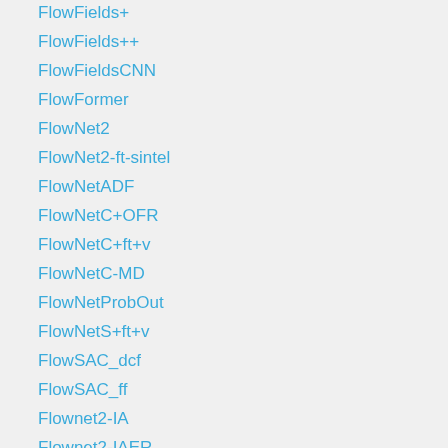FlowFields+
FlowFields++
FlowFieldsCNN
FlowFormer
FlowNet2
FlowNet2-ft-sintel
FlowNetADF
FlowNetC+OFR
FlowNetC+ft+v
FlowNetC-MD
FlowNetProbOut
FlowNetS+ft+v
FlowSAC_dcf
FlowSAC_ff
Flownet2-IA
Flownet2-IAER
FrequencyFlow
FullFlow
FullFlow+KF